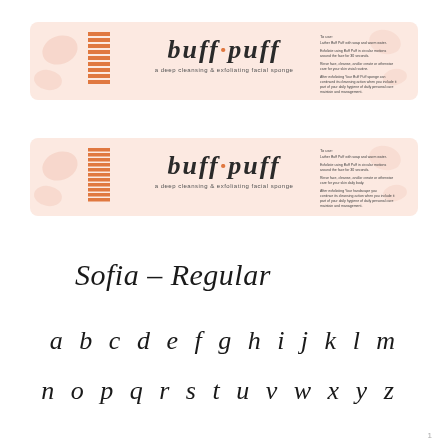[Figure (illustration): Buff Puff product packaging strip - larger version. Pink/peach background with barcode area in orange, centered logo 'buff puff' in script font with tagline 'a deep cleansing & exfoliating facial sponge', and product description text on the right side.]
[Figure (illustration): Buff Puff product packaging strip - smaller version. Same layout as above with pink/peach background, orange barcode, centered logo, and product description text.]
Sofia - Regular
a b c d e f g h i j k l m
n o p q r s t u v w x y z
1